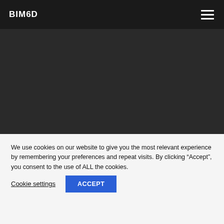BIM6D
[Figure (other): Dark gray background area representing a website hero/banner image area]
We use cookies on our website to give you the most relevant experience by remembering your preferences and repeat visits. By clicking “Accept”, you consent to the use of ALL the cookies.
Cookie settings
ACCEPT